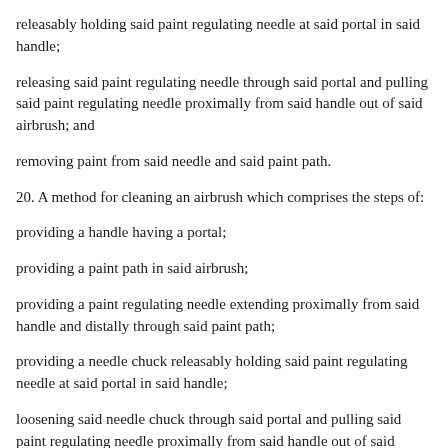releasably holding said paint regulating needle at said portal in said handle;
releasing said paint regulating needle through said portal and pulling said paint regulating needle proximally from said handle out of said airbrush; and
removing paint from said needle and said paint path.
20. A method for cleaning an airbrush which comprises the steps of:
providing a handle having a portal;
providing a paint path in said airbrush;
providing a paint regulating needle extending proximally from said handle and distally through said paint path;
providing a needle chuck releasably holding said paint regulating needle at said portal in said handle;
loosening said needle chuck through said portal and pulling said paint regulating needle proximally from said handle out of said